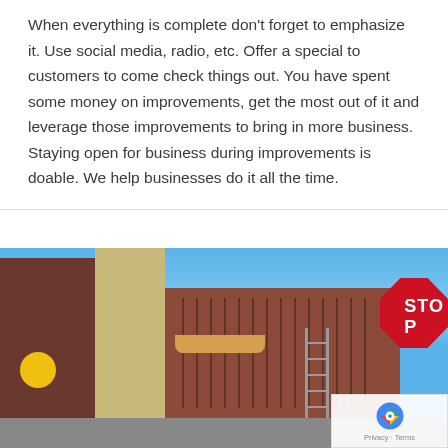When everything is complete don't forget to emphasize it. Use social media, radio, etc. Offer a special to customers to come check things out. You have spent some money on improvements, get the most out of it and leverage those improvements to bring in more business. Staying open for business during improvements is doable. We help businesses do it all the time.
[Figure (photo): Street-level photograph of a historic brick commercial building on a corner, with a stone pillar/column element, awning, ladder visible on the side, a yellow circular sign on the left, and a red STOP sign in the upper right. Blue sky visible in the background. A reCAPTCHA badge appears in the lower right corner with 'Privacy · Terms' text.]